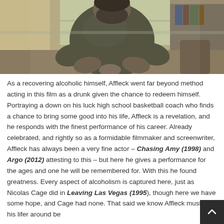[Figure (photo): A man in a dark olive/grey long-sleeve shirt standing indoors, photographed from mid-torso up, with blurred background showing windows and shelving]
As a recovering alcoholic himself, Affleck went far beyond method acting in this film as a drunk given the chance to redeem himself. Portraying a down on his luck high school basketball coach who finds a chance to bring some good into his life, Affleck is a revelation, and he responds with the finest performance of his career. Already celebrated, and rightly so as a formidable filmmaker and screenwriter, Affleck has always been a very fine actor – Chasing Amy (1998) and Argo (2012) attesting to this – but here he gives a performance for the ages and one he will be remembered for. With this he found greatness. Every aspect of alcoholism is captured here, just as Nicolas Cage did in Leaving Las Vegas (1995), though here we have some hope, and Cage had none. That said we know Affleck must turn his lifer around be he is out of time.